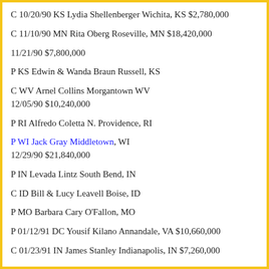C 10/20/90 KS Lydia Shellenberger Wichita, KS $2,780,000
C 11/10/90 MN Rita Oberg Roseville, MN $18,420,000
11/21/90 $7,800,000
P KS Edwin & Wanda Braun Russell, KS
C WV Arnel Collins Morgantown WV 12/05/90 $10,240,000
P RI Alfredo Coletta N. Providence, RI
P WI Jack Gray Middletown, WI 12/29/90 $21,840,000
P IN Levada Lintz South Bend, IN
C ID Bill & Lucy Leavell Boise, ID
P MO Barbara Cary O'Fallon, MO
P 01/12/91 DC Yousif Kilano Annandale, VA $10,660,000
C 01/23/91 IN James Stanley Indianapolis, IN $7,260,000